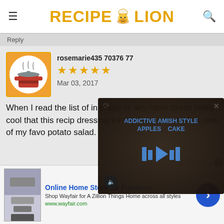RECIPE LION
Reply
[Figure (screenshot): Recipe Lion website screenshot showing a user review by rosemarie435 with 5 stars dated Mar 03, 2017, partially obscured by a video overlay showing 'ADDICTIVE AMISH STYLE APPLES CAKE', and a Wayfair advertisement at the bottom]
rosemarie435 70376 77
Mar 03, 2017
When I read the list of in mayo or any other dress really cool that this recip dressing for the potato s which is one of my favo potato salad.
Online Home Store for Furniture
Shop Wayfair for A Zillion Things Home across all styles
www.wayfair.com